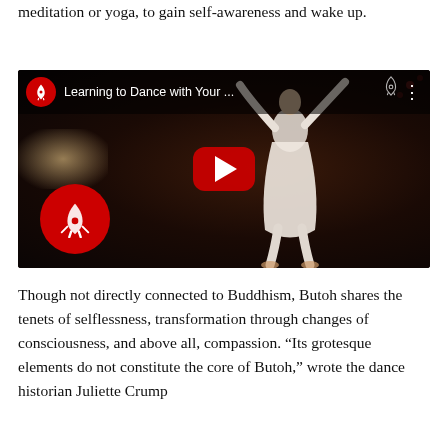meditation or yoga, to gain self-awareness and wake up.
[Figure (screenshot): YouTube video embed showing a dancer in a white dress on a dark reddish stage, with title 'Learning to Dance with Your ...' and YouTube play button overlay, plus a channel logo (rocket icon in red circle).]
Though not directly connected to Buddhism, Butoh shares the tenets of selflessness, transformation through changes of consciousness, and above all, compassion. “Its grotesque elements do not constitute the core of Butoh,” wrote the dance historian Juliette Crump